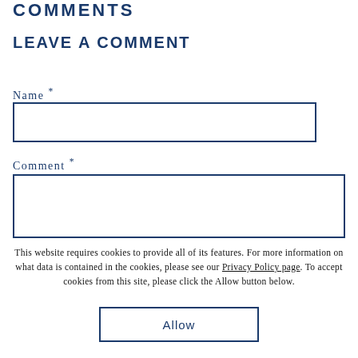COMMENTS
LEAVE A COMMENT
Name *
Comment *
This website requires cookies to provide all of its features. For more information on what data is contained in the cookies, please see our Privacy Policy page. To accept cookies from this site, please click the Allow button below.
Allow